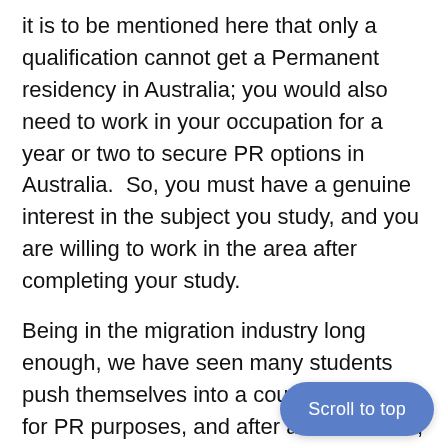it is to be mentioned here that only a qualification cannot get a Permanent residency in Australia; you would also need to work in your occupation for a year or two to secure PR options in Australia.  So, you must have a genuine interest in the subject you study, and you are willing to work in the area after completing your study.
Being in the migration industry long enough, we have seen many students push themselves into a course of study for PR purposes, and after a few months, they want to change their major because they did not have any interest in the subject.
To follow the article about "where I should study in Australia", international students may be in the middle of career pathway (Big cities with giant organizations and job opportunities to grow) and PR pathway (R... with higher chances of getting permanen...